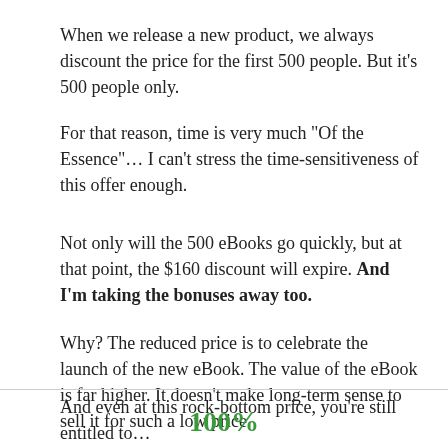When we release a new product, we always discount the price for the first 500 people. But it’s 500 people only.
For that reason, time is very much “Of the Essence”… I can’t stress the time-sensitiveness of this offer enough.
Not only will the 500 eBooks go quickly, but at that point, the $160 discount will expire. And I’m taking the bonuses away too.
Why? The reduced price is to celebrate the launch of the new eBook. The value of the eBook is far higher. It doesn’t make long-term sense to sell it for such a low price.
And even at this rock-bottom price, you’re still entitled to…
100%